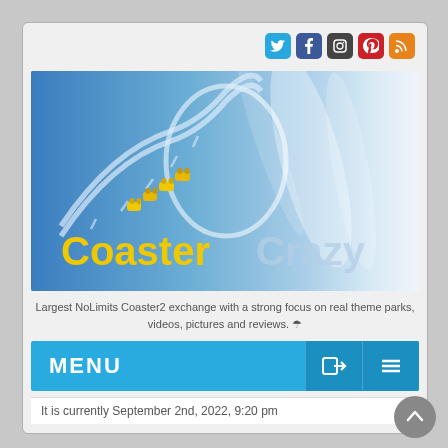[Figure (logo): CoasterCrazy website logo with roller coaster track and yellow coaster cars on blue gradient background]
Largest NoLimits Coaster2 exchange with a strong focus on real theme parks, videos, pictures and reviews.
MENU
It is currently September 2nd, 2022, 9:20 pm